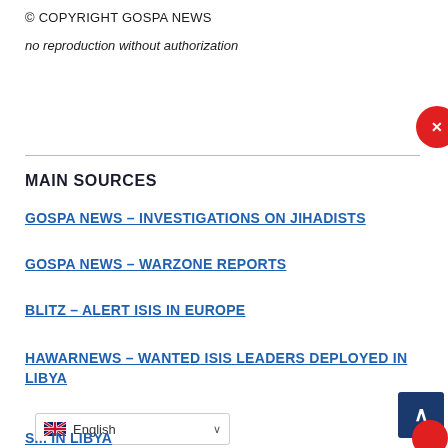© COPYRIGHT GOSPA NEWS
no reproduction without authorization
MAIN SOURCES
GOSPA NEWS – INVESTIGATIONS ON JIHADISTS
GOSPA NEWS – WARZONE REPORTS
BLITZ – ALERT ISIS IN EUROPE
HAWARNEWS – WANTED ISIS LEADERS DEPLOYED IN LIBYA
S... IN LIBYA